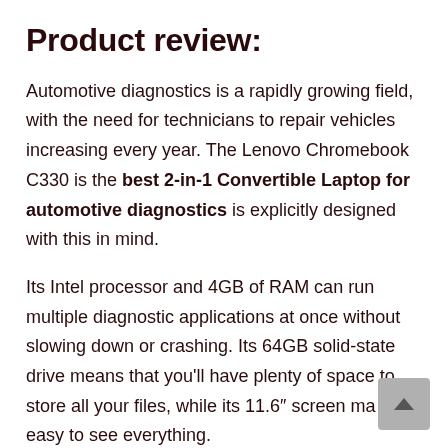Product review:
Automotive diagnostics is a rapidly growing field, with the need for technicians to repair vehicles increasing every year. The Lenovo Chromebook C330 is the best 2-in-1 Convertible Laptop for automotive diagnostics is explicitly designed with this in mind.
Its Intel processor and 4GB of RAM can run multiple diagnostic applications at once without slowing down or crashing. Its 64GB solid-state drive means that you'll have plenty of space to store all your files, while its 11.6″ screen ma it easy to see everything.